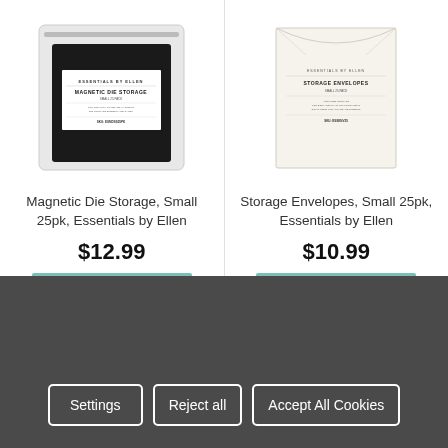[Figure (photo): Magnetic Die Storage Small 25pk product image - black resealable bag in clear plastic packaging]
Magnetic Die Storage, Small 25pk, Essentials by Ellen
$12.99
[Figure (photo): Storage Envelopes Small 25pk product image - cream/white envelope style storage with printed label]
Storage Envelopes, Small 25pk, Essentials by Ellen
$10.99
Settings
Reject all
Accept All Cookies